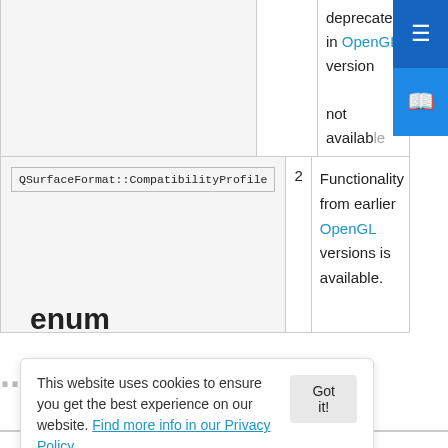| Constant | Value | Description |
| --- | --- | --- |
|  |  | deprecated in OpenGL version not available |
| QSurfaceFormat::CompatibilityProfile | 2 | Functionality from earlier OpenGL versions is available. |
enum
erableType
end for the surface.
This website uses cookies to ensure you get the best experience on our website. Find more info in our Privacy Policy
| Constant | Value | Description |
| --- | --- | --- |